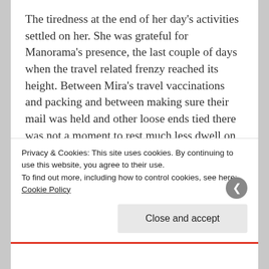The tiredness at the end of her day's activities settled on her. She was grateful for Manorama's presence, the last couple of days when the travel related frenzy reached its height. Between Mira's travel vaccinations and packing and between making sure their mail was held and other loose ends tied there was not a moment to rest much less dwell on their 'first trip back without NK.' At the same time, every act by itself reminded her of his absence when she had to do them instead of him.
Privacy & Cookies: This site uses cookies. By continuing to use this website, you agree to their use.
To find out more, including how to control cookies, see here: Cookie Policy